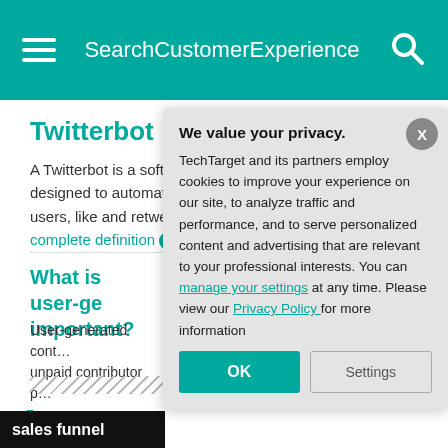SearchCustomerExperience
Twitterbot
A Twitterbot is a software program designed to automatically follow Twitter users, like and retweet posts. See complete definition ℹ
What is user-ge… important?
User-generated cont… unpaid contributor p…
Dig Deep…
[Figure (screenshot): Privacy consent dialog overlay: 'We value your privacy. TechTarget and its partners employ cookies to improve your experience on our site, to analyze traffic and performance, and to serve personalized content and advertising that are relevant to your professional interests. You can manage your settings at any time. Please view our Privacy Policy for more information' with OK and Settings buttons.]